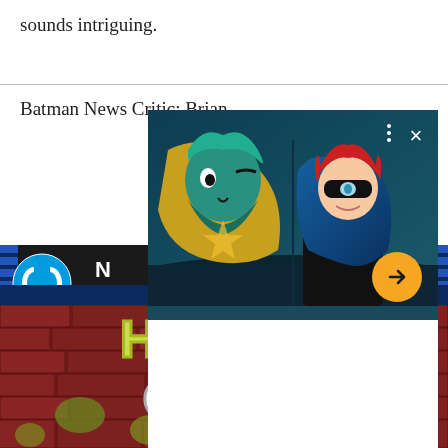sounds intriguing.
Batman News Critic: Brian
[Figure (screenshot): An animated video popup overlaying the page. The video shows two cartoon characters — one with teal/green hair and beard in a yellow costume, and another with red hair wearing a black mask. There are UI controls: three dots menu, X close button, and an orange circular next/arrow button. Below the video frame is a white content area.]
[Figure (photo): DC Comics Harley Quinn comic book cover or banner. Shows DC logo on left, a dark header bar with 'N' text, blue stripes on edges, and large stylized 'HARLEY QUINN' text on a brick wall background with green graffiti elements.]